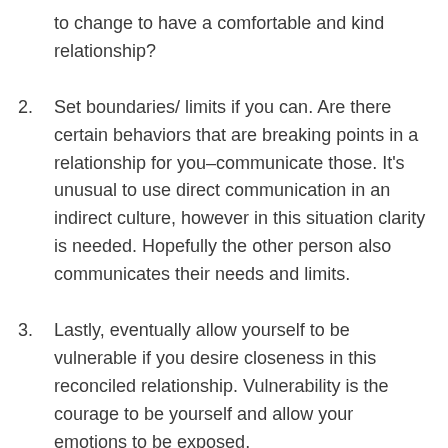to change to have a comfortable and kind relationship?
2. Set boundaries/ limits if you can. Are there certain behaviors that are breaking points in a relationship for you–communicate those. It's unusual to use direct communication in an indirect culture, however in this situation clarity is needed. Hopefully the other person also communicates their needs and limits.
3. Lastly, eventually allow yourself to be vulnerable if you desire closeness in this reconciled relationship. Vulnerability is the courage to be yourself and allow your emotions to be exposed.